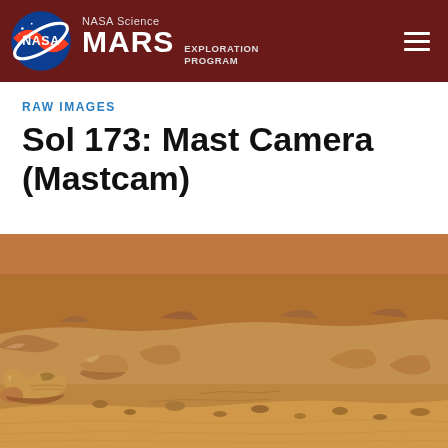NASA Science MARS EXPLORATION PROGRAM
RAW IMAGES
Sol 173: Mast Camera (Mastcam)
[Figure (photo): Mars surface raw image from Sol 173 Mastcam showing rocky terrain with reddish-orange sand and stones]